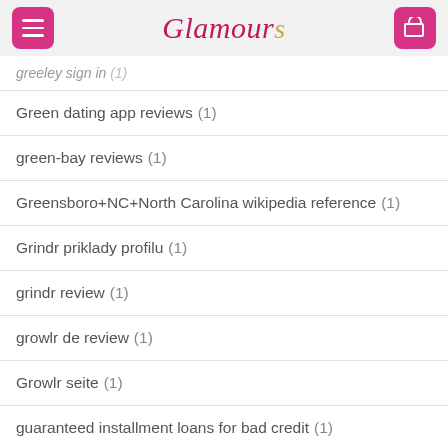Glamours
greeley sign in (1)
Green dating app reviews (1)
green-bay reviews (1)
Greensboro+NC+North Carolina wikipedia reference (1)
Grindr priklady profilu (1)
grindr review (1)
growlr de review (1)
Growlr seite (1)
guaranteed installment loans for bad credit (1)
guyspy podepsat (1)